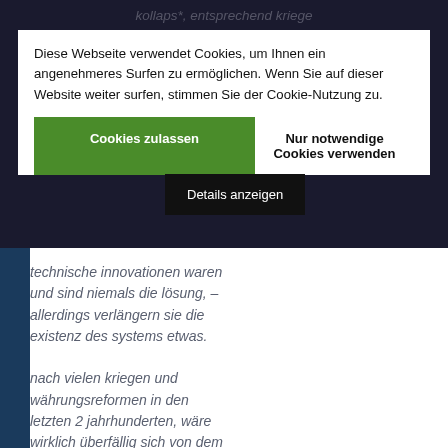kollaps*, entsprechend kriege ... wenn wir die heutige weltlage stimmen ... und jetzt fragen verhälten, kredit geldsystem wäre dabei wieder nicht als ursächlich erkenntlich.
Diese Webseite verwendet Cookies, um Ihnen ein angenehmeres Surfen zu ermöglichen. Wenn Sie auf dieser Website weiter surfen, stimmen Sie der Cookie-Nutzung zu.
Cookies zulassen
Nur notwendige Cookies verwenden
Details anzeigen
technische innovationen waren und sind niemals die lösung, – allerdings verlängern sie die existenz des systems etwas.
nach vielen kriegen und währungsreformen in den letzten 2 jahrhunderten, wäre wirklich überfällig sich von dem exponentiellen geldsystem zu verabschieden und alternativen